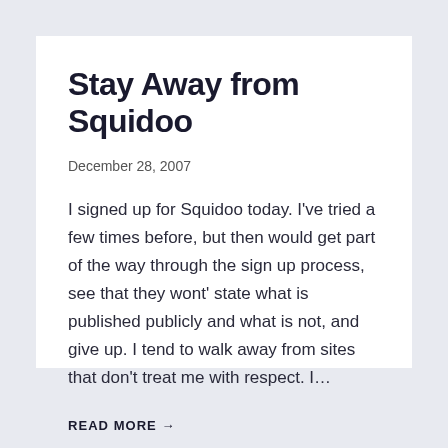Stay Away from Squidoo
December 28, 2007
I signed up for Squidoo today. I’ve tried a few times before, but then would get part of the way through the sign up process, see that they wont’ state what is published publicly and what is not, and give up. I tend to walk away from sites that don’t treat me with respect. I…
READ MORE →